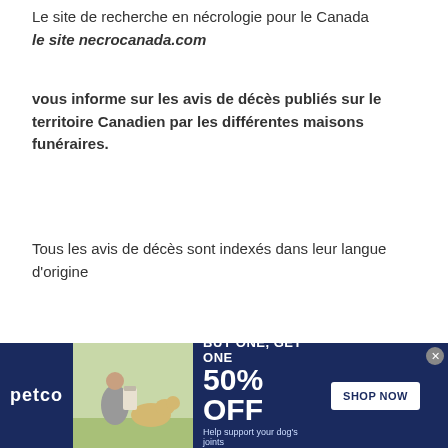Le site de recherche en nécrologie pour le Canada le site necrocanada.com
vous informe sur les avis de décès publiés sur le territoire Canadien par les différentes maisons funéraires.
Tous les avis de décès sont indexés dans leur langue d'origine
Nécro Canada, un moteur de recherche spécialisé
[Figure (infographic): Petco advertisement banner: BUY ONE, GET ONE 50% OFF on dog joint supplement. Shows woman with Labrador, Petco logo, and Shop Now button.]